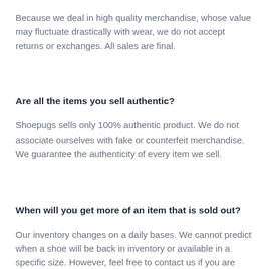Because we deal in high quality merchandise, whose value may fluctuate drastically with wear, we do not accept returns or exchanges. All sales are final.
Are all the items you sell authentic?
Shoepugs sells only 100% authentic product. We do not associate ourselves with fake or counterfeit merchandise. We guarantee the authenticity of every item we sell.
When will you get more of an item that is sold out?
Our inventory changes on a daily bases. We cannot predict when a shoe will be back in inventory or available in a specific size. However, feel free to contact us if you are looking for a specific shoe. We